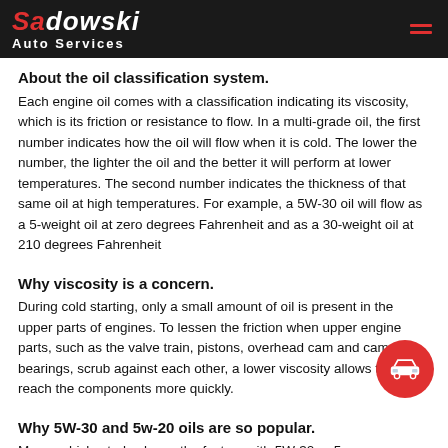Sadowski Auto Services
About the oil classification system.
Each engine oil comes with a classification indicating its viscosity, which is its friction or resistance to flow. In a multi-grade oil, the first number indicates how the oil will flow when it is cold. The lower the number, the lighter the oil and the better it will perform at lower temperatures. The second number indicates the thickness of that same oil at high temperatures. For example, a 5W-30 oil will flow as a 5-weight oil at zero degrees Fahrenheit and as a 30-weight oil at 210 degrees Fahrenheit
Why viscosity is a concern.
During cold starting, only a small amount of oil is present in the upper parts of engines. To lessen the friction when upper engine parts, such as the valve train, pistons, overhead cam and cam bearings, scrub against each other, a lower viscosity allows the oil to reach the components more quickly.
Why 5W-30 and 5w-20 oils are so popular.
Many vehicles today leave the factory with 5W-30 or 5w-